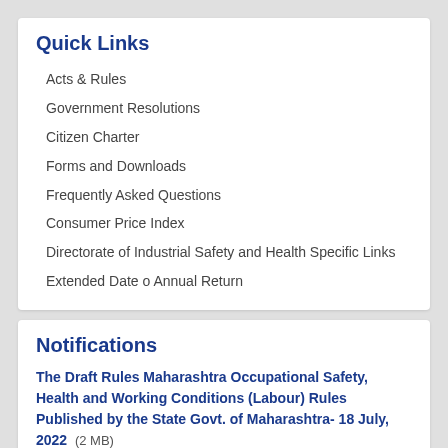Quick Links
Acts & Rules
Government Resolutions
Citizen Charter
Forms and Downloads
Frequently Asked Questions
Consumer Price Index
Directorate of Industrial Safety and Health Specific Links
Extended Date o Annual Return
Notifications
The Draft Rules Maharashtra Occupational Safety, Health and Working Conditions (Labour) Rules Published by the State Govt. of Maharashtra- 18 July, 2022  (2 MB)